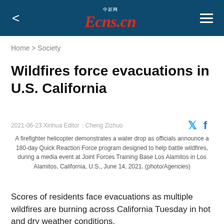Ecns.cn
Home > Society
Wildfires force evacuations in U.S. California
2021-06-23 Xinhua Editor：Cheng Zizhuo
A firefighter helicopter demonstrates a water drop as officials announce a 180-day Quick Reaction Force program designed to help battle wildfires, during a media event at Joint Forces Training Base Los Alamitos in Los Alamitos, California, U.S., June 14, 2021. (photo/Agencies)
Scores of residents face evacuations as multiple wildfires are burning across California Tuesday in hot and dry weather conditions.